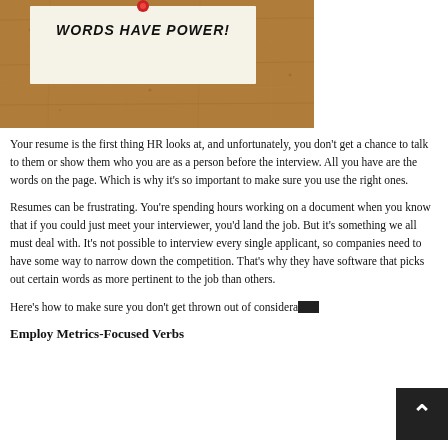[Figure (photo): Photo of a cork board with a white note card pinned to it. The note card reads 'WORDS HAVE POWER!' in handwritten text.]
Your resume is the first thing HR looks at, and unfortunately, you don't get a chance to talk to them or show them who you are as a person before the interview. All you have are the words on the page. Which is why it's so important to make sure you use the right ones.
Resumes can be frustrating. You're spending hours working on a document when you know that if you could just meet your interviewer, you'd land the job. But it's something we all must deal with. It's not possible to interview every single applicant, so companies need to have some way to narrow down the competition. That's why they have software that picks out certain words as more pertinent to the job than others.
Here's how to make sure you don't get thrown out of consideration:
Employ Metrics-Focused Verbs